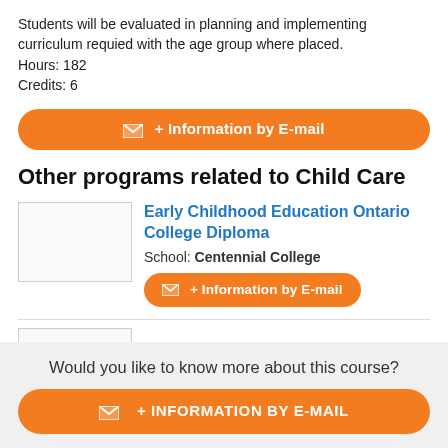Students will be evaluated in planning and implementing curriculum requied with the age group where placed.
Hours: 182
Credits: 6
+ Information by E-mail
Other programs related to Child Care
[Figure (other): Thumbnail image placeholder for Early Childhood Education Ontario College Diploma]
Early Childhood Education Ontario College Diploma
School: Centennial College
+ Information by E-mail
Would you like to know more about this course?
+ INFORMATION BY E-MAIL